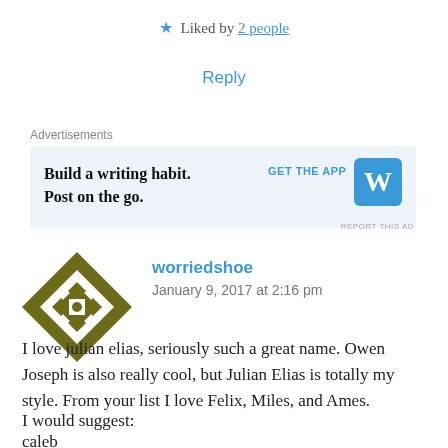★ Liked by 2 people
Reply
Advertisements
[Figure (other): WordPress app advertisement banner: 'Build a writing habit. Post on the go.' with GET THE APP button and WordPress logo]
REPORT THIS AD
[Figure (other): User avatar with geometric quilt-like pattern in olive/dark yellow and white]
worriedshoe
January 9, 2017 at 2:16 pm
I love julian elias, seriously such a great name. Owen Joseph is also really cool, but Julian Elias is totally my style. From your list I love Felix, Miles, and Ames.
I would suggest:
caleb